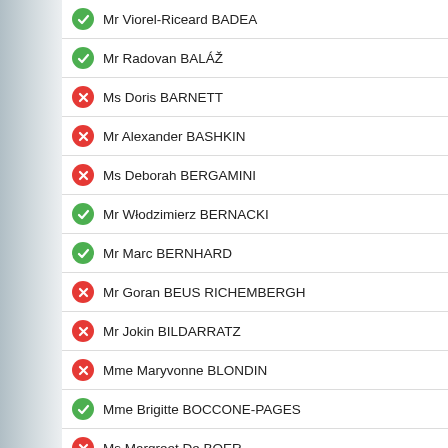Mr Viorel-Riceard BADEA
Mr Radovan BALÁŽ
Ms Doris BARNETT
Mr Alexander BASHKIN
Ms Deborah BERGAMINI
Mr Włodzimierz BERNACKI
Mr Marc BERNHARD
Mr Goran BEUS RICHEMBERGH
Mr Jokin BILDARRATZ
Mme Maryvonne BLONDIN
Mme Brigitte BOCCONE-PAGES
Ms Margreet De BOER
Mme Mònica BONELL
Mr Marek BOROWSKI
Mr Bob De BRABANDERE
Mr Koloman BRENNER
Ms Karin BROUWERS